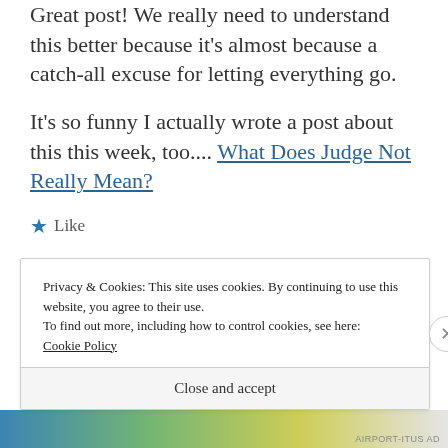Great post! We really need to understand this better because it's almost because a catch-all excuse for letting everything go.
It's so funny I actually wrote a post about this this week, too.... What Does Judge Not Really Mean?
★ Like
Privacy & Cookies: This site uses cookies. By continuing to use this website, you agree to their use.
To find out more, including how to control cookies, see here:
Cookie Policy
Close and accept